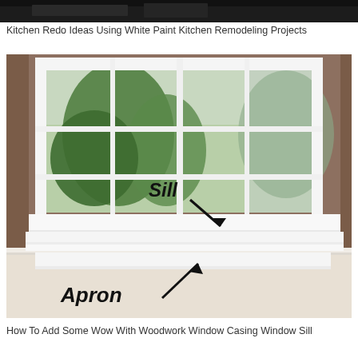[Figure (photo): Dark top banner photo strip, partially visible kitchen or interior scene]
Kitchen Redo Ideas Using White Paint Kitchen Remodeling Projects
[Figure (photo): Photo of a white-painted window with labeled architectural parts: 'Sill' pointing to the window sill with a downward arrow, and 'Apron' pointing to the decorative trim below the sill with an upward arrow. Brown/taupe painted walls surround the white window casing. Window shows green foliage outside.]
How To Add Some Wow With Woodwork Window Casing Window Sill